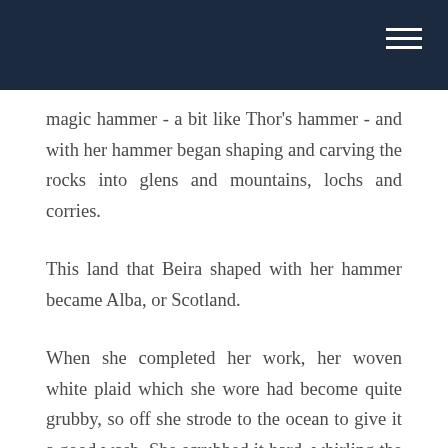magic hammer - a bit like Thor's hammer - and with her hammer began shaping and carving the rocks into glens and mountains, lochs and corries.
This land that Beira shaped with her hammer became Alba, or Scotland.
When she completed her work, her woven white plaid which she wore had become quite grubby, so off she strode to the ocean to give it a good wash. She scrubbed it hard, whirling the dark waters around and around, at a place on the West Coast of Scotland we now call Coire Bhreachain, or Corryvreckan, which is